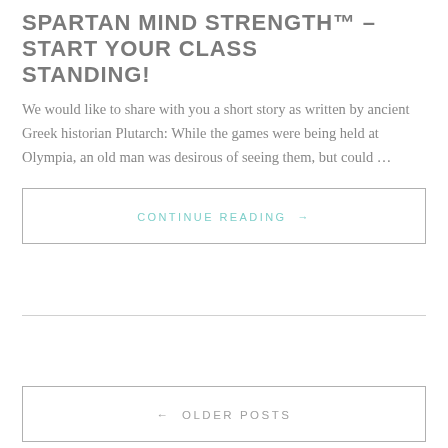SPARTAN MIND STRENGTH™ – START YOUR CLASS STANDING!
We would like to share with you a short story as written by ancient Greek historian Plutarch: While the games were being held at Olympia, an old man was desirous of seeing them, but could …
CONTINUE READING →
← OLDER POSTS